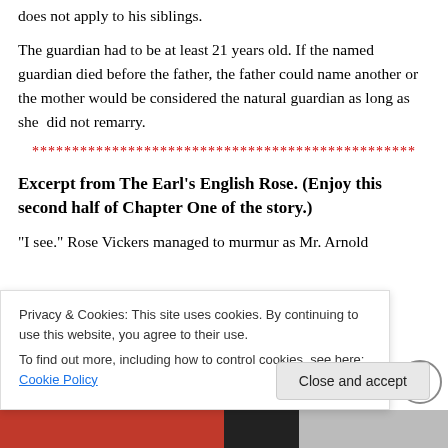does not apply to his siblings.
The guardian had to be at least 21 years old. If the named guardian died before the father, the father could name another or the mother would be considered the natural guardian as long as she  did not remarry.
************************************************
Excerpt from The Earl’s English Rose. (Enjoy this second half of Chapter One of the story.)
“I see.” Rose Vickers managed to murmur as Mr. Arnold
Privacy & Cookies: This site uses cookies. By continuing to use this website, you agree to their use.
To find out more, including how to control cookies, see here: Cookie Policy
Close and accept